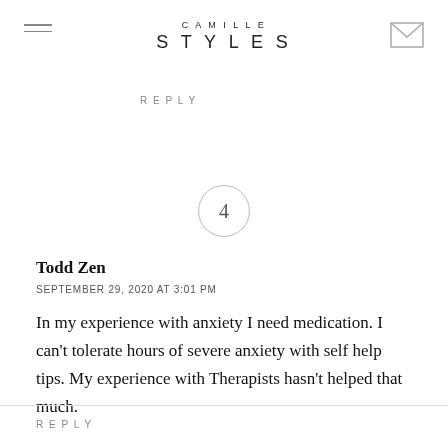CAMILLE STYLES
REPLY
4
Todd Zen
SEPTEMBER 29, 2020 AT 3:01 PM
In my experience with anxiety I need medication. I can't tolerate hours of severe anxiety with self help tips. My experience with Therapists hasn't helped that much.
REPLY